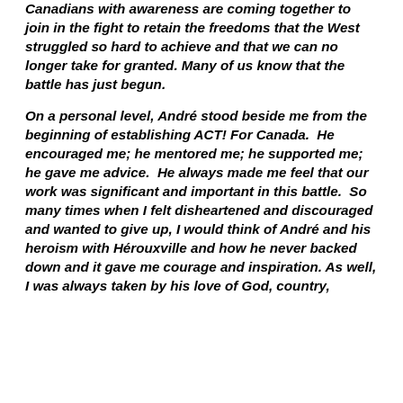Canadians with awareness are coming together to join in the fight to retain the freedoms that the West struggled so hard to achieve and that we can no longer take for granted. Many of us know that the battle has just begun.
On a personal level, André stood beside me from the beginning of establishing ACT! For Canada.  He encouraged me; he mentored me; he supported me; he gave me advice.  He always made me feel that our work was significant and important in this battle.  So many times when I felt disheartened and discouraged and wanted to give up, I would think of André and his heroism with Hérouxville and how he never backed down and it gave me courage and inspiration. As well, I was always taken by his love of God, country,